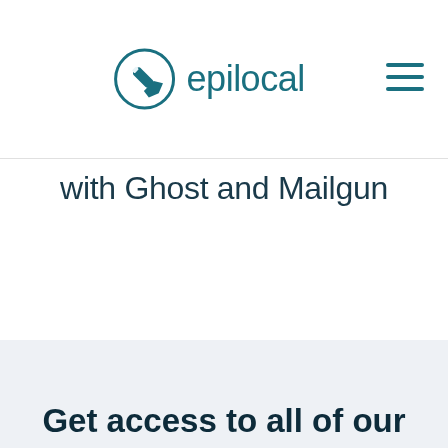[Figure (logo): Epilocal logo: circular teal icon with a pencil/pen arrow pointing down-left inside a circle, followed by the text 'epilocal' in teal sans-serif font]
[Figure (other): Hamburger menu icon (three horizontal lines) in teal color, positioned in the top-right corner]
with Ghost and Mailgun
Get access to all of our